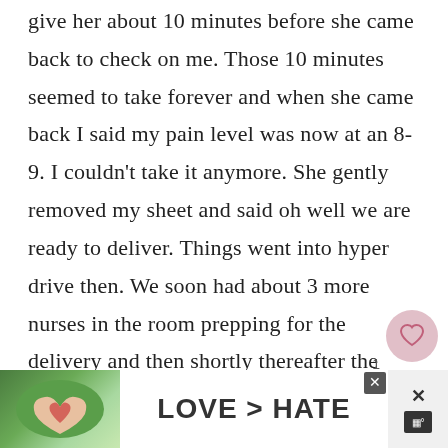give her about 10 minutes before she came back to check on me. Those 10 minutes seemed to take forever and when she came back I said my pain level was now at an 8-9. I couldn't take it anymore. She gently removed my sheet and said oh well we are ready to deliver. Things went into hyper drive then. We soon had about 3 more nurses in the room prepping for the delivery and then shortly thereafter the doctor walked in. After 3 contractions and several pushes we delivered Weston. Weighing in at 6 lbs. 8 ounces and measuring 20 inches. I appreciate all the nurses from our delivery to our stay because they
[Figure (photo): Advertisement banner at bottom of page showing hands forming a heart shape against a green outdoor background, with text 'LOVE > HATE' and close buttons]